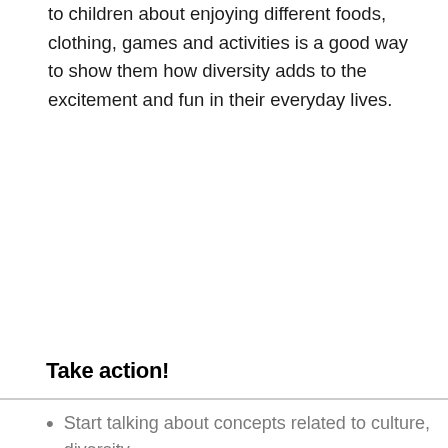to children about enjoying different foods, clothing, games and activities is a good way to show them how diversity adds to the excitement and fun in their everyday lives.
Take action!
Start talking about concepts related to culture, diversity